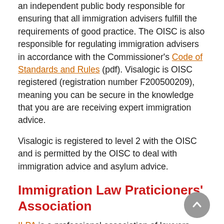an independent public body responsible for ensuring that all immigration advisers fulfill the requirements of good practice. The OISC is also responsible for regulating immigration advisers in accordance with the Commissioner's Code of Standards and Rules (pdf). Visalogic is OISC registered (registration number F200500209), meaning you can be secure in the knowledge that you are are receiving expert immigration advice.
Visalogic is registered to level 2 with the OISC and is permitted by the OISC to deal with immigration advice and asylum advice.
Immigration Law Praticioners' Association
ILPA is a professional association of lawyers and academics practising in or concerned about immigration, asylum and nationality law.